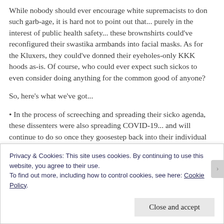While nobody should ever encourage white supremacists to don such garb-age, it is hard not to point out that... purely in the interest of public health safety... these brownshirts could've reconfigured their swastika armbands into facial masks. As for the Kluxers, they could've donned their eyeholes-only KKK hoods as-is. Of course, who could ever expect such sickos to even consider doing anything for the common good of anyone?
So, here's what we've got...
• In the process of screeching and spreading their sicko agenda, these dissenters were also spreading COVID-19... and will continue to do so once they goosestep back into their individual communities.
Privacy & Cookies: This site uses cookies. By continuing to use this website, you agree to their use.
To find out more, including how to control cookies, see here: Cookie Policy.